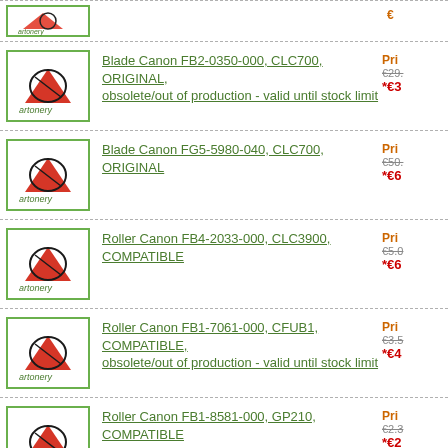Blade Canon FB2-0350-000, CLC700, ORIGINAL, obsolete/out of production - valid until stock limit
Blade Canon FG5-5980-040, CLC700, ORIGINAL
Roller Canon FB4-2033-000, CLC3900, COMPATIBLE
Roller Canon FB1-7061-000, CFUB1, COMPATIBLE, obsolete/out of production - valid until stock limit
Roller Canon FB1-8581-000, GP210, COMPATIBLE
Roller Canon FA3-8733-040, CLC1, COMPATIBLE, obsolete/out of production - valid until stock limit